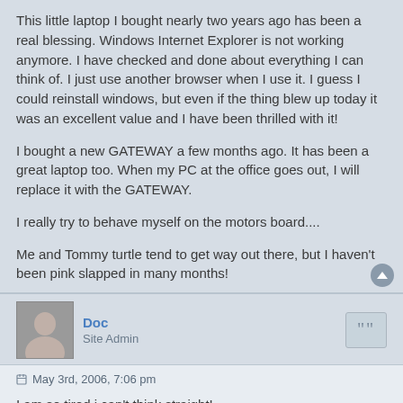This little laptop I bought nearly two years ago has been a real blessing. Windows Internet Explorer is not working anymore. I have checked and done about everything I can think of. I just use another browser when I use it. I guess I could reinstall windows, but even if the thing blew up today it was an excellent value and I have been thrilled with it!

I bought a new GATEWAY a few months ago. It has been a great laptop too. When my PC at the office goes out, I will replace it with the GATEWAY.

I really try to behave myself on the motors board....

Me and Tommy turtle tend to get way out there, but I haven't been pink slapped in many months!
Doc
Site Admin
May 3rd, 2006, 7:06 pm
I am so tired i can't think straight!

Been here since about 8 this morning, and its after 8 now!